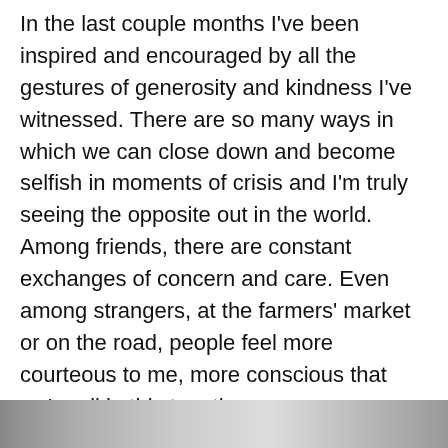In the last couple months I've been inspired and encouraged by all the gestures of generosity and kindness I've witnessed. There are so many ways in which we can close down and become selfish in moments of crisis and I'm truly seeing the opposite out in the world.  Among friends, there are constant exchanges of concern and care. Even among strangers, at the farmers' market or on the road, people feel more courteous to me, more conscious that we're all in this together.
[Figure (photo): A partial photo strip visible at the bottom of the page, showing a blurred or cropped image.]